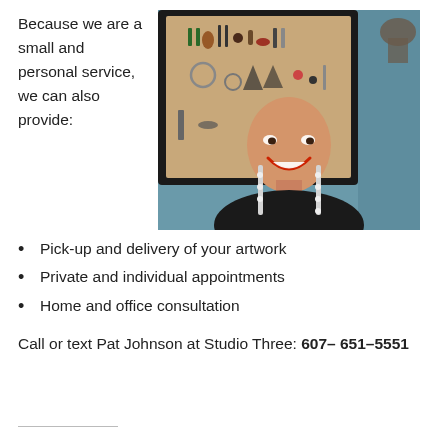Because we are a small and personal service, we can also provide:
[Figure (photo): A smiling bald woman wearing large dangling earrings and a black top, standing in front of a framed display of hanging jewelry/earrings on a wall, with teal wall color visible in background.]
Pick-up and delivery of your artwork
Private and individual appointments
Home and office consultation
Call or text Pat Johnson at Studio Three: 607– 651–5551